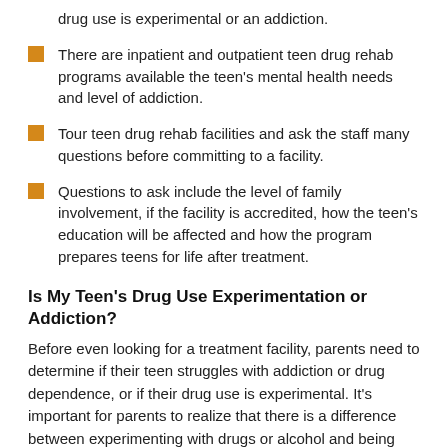drug use is experimental or an addiction.
There are inpatient and outpatient teen drug rehab programs available the teen's mental health needs and level of addiction.
Tour teen drug rehab facilities and ask the staff many questions before committing to a facility.
Questions to ask include the level of family involvement, if the facility is accredited, how the teen's education will be affected and how the program prepares teens for life after treatment.
Is My Teen's Drug Use Experimentation or Addiction?
Before even looking for a treatment facility, parents need to determine if their teen struggles with addiction or drug dependence, or if their drug use is experimental. It's important for parents to realize that there is a difference between experimenting with drugs or alcohol and being addicted to these substances.